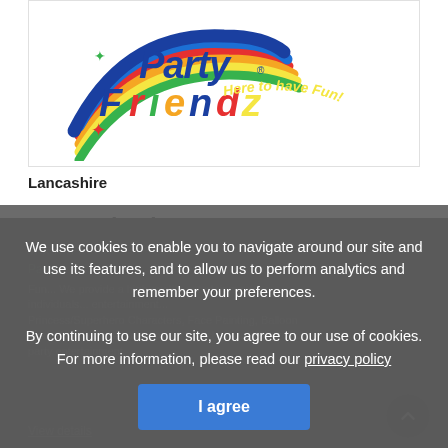[Figure (logo): Party Friendz logo with colorful swoosh and text 'Here to have Fun!']
Lancashire
Party Friendz
We use cookies to enable you to navigate around our site and use its features, and to allow us to perform analytics and remember your preferences. By continuing to use our site, you agree to our use of cookies. For more information, please read our privacy policy
I agree